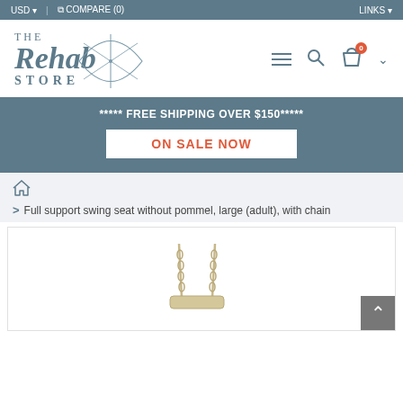USD  |  COMPARE (0)  LINKS
[Figure (logo): The Rehab Store logo with star/sparkle graphic]
***** FREE SHIPPING OVER $150*****
ON SALE NOW
Home > Full support swing seat without pommel, large (adult), with chain
[Figure (photo): Product image of a full support swing seat with chain on white background]